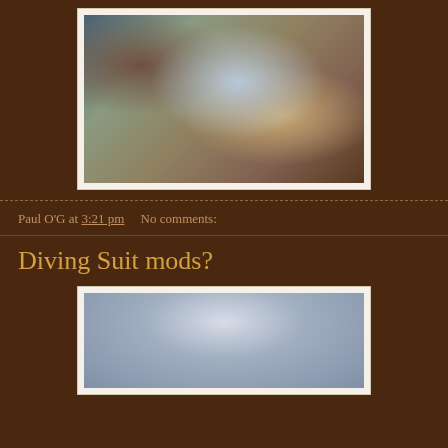[Figure (photo): Man with white beard sitting in a room surrounded by natural history artifacts including a large fish mount on the wall, skull on the floor, and a gorilla statue]
Paul O'G at 3:21 pm    No comments:
Diving Suit mods?
[Figure (photo): Three small armored/diving suit figures walking across a landscape holding a red flag]